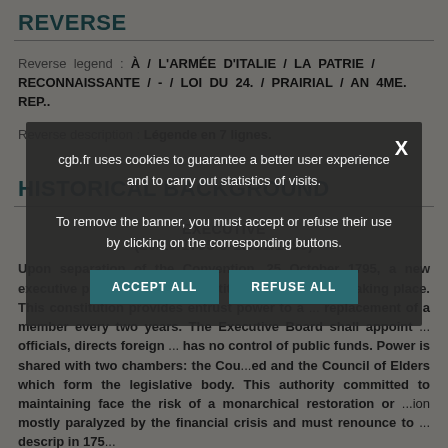REVERSE
Reverse legend : À / L'ARMÉE D'ITALIE / LA PATRIE / RECONNAISSANTE / - / LOI DU 24. / PRAIRIAL / AN 4ME. REP..
Reverse description : Légende en 7 lignes.
HISTORICAL BACKGROUND
EXECUTIVE
(26/10/1795-9-10/11/1799)
Upon separation of the Convention, 25 October 1795, a new executive power under the constitution Thermidor is taking place. This constitution provides entrust power to a ... replacement of a member every two years. The Executive Board shall appoint ... officials, directs foreign ... has no control of public funds. Power is shared with two chambers: the Council of ... and the Council of Elders which form the legislative body. This authority committed to maintaining face the risk of a monarchical restoration or ... mostly paralyzed by the financial crisis and must renounce to ... descrip in 1795...
cgb.fr uses cookies to guarantee a better user experience and to carry out statistics of visits.

To remove the banner, you must accept or refuse their use by clicking on the corresponding buttons.